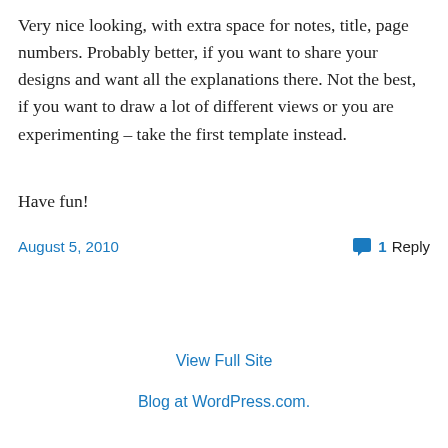Very nice looking, with extra space for notes, title, page numbers. Probably better, if you want to share your designs and want all the explanations there. Not the best, if you want to draw a lot of different views or you are experimenting – take the first template instead.
Have fun!
August 5, 2010
1 Reply
View Full Site
Blog at WordPress.com.